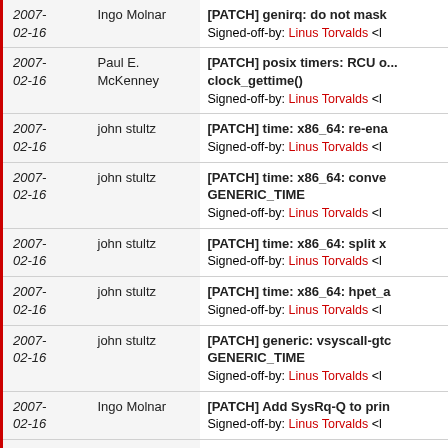| Date | Author | Subject |
| --- | --- | --- |
| 2007-02-16 | Ingo Molnar | [PATCH] genirq: do not mask
Signed-off-by: Linus Torvalds <l |
| 2007-02-16 | Paul E. McKenney | [PATCH] posix timers: RCU o...
clock_gettime()
Signed-off-by: Linus Torvalds <l |
| 2007-02-16 | john stultz | [PATCH] time: x86_64: re-ena
Signed-off-by: Linus Torvalds <l |
| 2007-02-16 | john stultz | [PATCH] time: x86_64: conve
GENERIC_TIME
Signed-off-by: Linus Torvalds <l |
| 2007-02-16 | john stultz | [PATCH] time: x86_64: split x
Signed-off-by: Linus Torvalds <l |
| 2007-02-16 | john stultz | [PATCH] time: x86_64: hpet_a
Signed-off-by: Linus Torvalds <l |
| 2007-02-16 | john stultz | [PATCH] generic: vsyscall-gtc
GENERIC_TIME
Signed-off-by: Linus Torvalds <l |
| 2007-02-16 | Ingo Molnar | [PATCH] Add SysRq-Q to prin
Signed-off-by: Linus Torvalds <l |
| 2007-02-16 | Ingo Molnar | [PATCH] Add debugging featu
Signed-off-by: Linus Torvalds <l |
| 2007- | Ingo Molnar | [PATCH] Add debugging fea... |